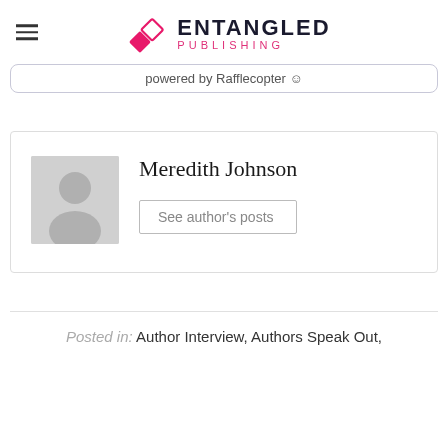ENTANGLED PUBLISHING
powered by Rafflecopter
Meredith Johnson
See author's posts
Posted in: Author Interview, Authors Speak Out,